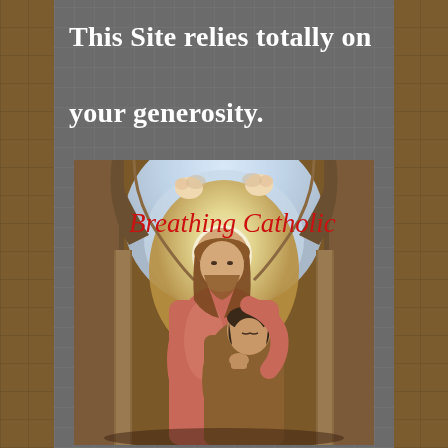This Site relies totally on your generosity.
[Figure (illustration): Religious painting showing Jesus with a glowing halo embracing a kneeling young man in prayer, set in an arched stone alcove with cherubs above. Red cursive text overlay reads 'Breathing Catholic'.]